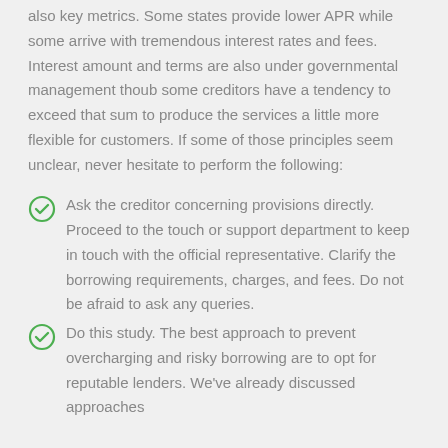also key metrics. Some states provide lower APR while some arrive with tremendous interest rates and fees. Interest amount and terms are also under governmental management thoub some creditors have a tendency to exceed that sum to produce the services a little more flexible for customers. If some of those principles seem unclear, never hesitate to perform the following:
Ask the creditor concerning provisions directly. Proceed to the touch or support department to keep in touch with the official representative. Clarify the borrowing requirements, charges, and fees. Do not be afraid to ask any queries.
Do this study. The best approach to prevent overcharging and risky borrowing are to opt for reputable lenders. We've already discussed approaches